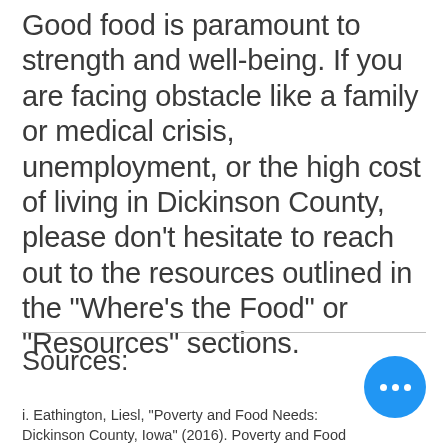Good food is paramount to strength and well-being. If you are facing obstacle like a family or medical crisis, unemployment, or the high cost of living in Dickinson County, please don't hesitate to reach out to the resources outlined in the "Where's the Food" or "Resources" sections.
Sources:
i. Eathington, Liesl, "Poverty and Food Needs: Dickinson County, Iowa" (2016). Poverty and Food Needs. 30. https://lib.dr.iastate.edu/icip_poverty/3... ii. Cook, John, and Karen Jeng. "Child Food Insecurity: The Economic Impact on Our Nation." Child Food Insecurity: The Economic...